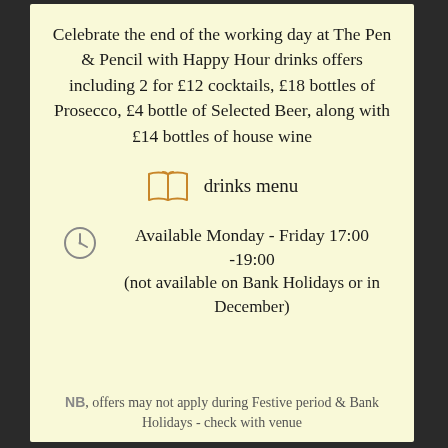Celebrate the end of the working day at The Pen & Pencil with Happy Hour drinks offers including 2 for £12 cocktails, £18 bottles of Prosecco, £4 bottle of Selected Beer, along with £14 bottles of house wine
[Figure (illustration): Open book icon in orange/amber color representing a drinks menu]
drinks menu
[Figure (illustration): Clock icon in outline style]
Available Monday - Friday 17:00 -19:00
(not available on Bank Holidays or in December)
NB, offers may not apply during Festive period & Bank Holidays - check with venue